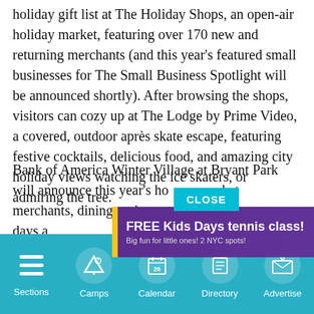holiday gift list at The Holiday Shops, an open-air holiday market, featuring over 170 new and returning merchants (and this year's featured small businesses for The Small Business Spotlight will be announced shortly). After browsing the shops, visitors can cozy up at The Lodge by Prime Video, a covered, outdoor après skate escape, featuring festive cocktails, delicious food, and amazing city holiday views watching the ice skaters, or admiring the tree.
Bank of America Winter Village at Bryant Park will announce this year's ho… arket merchants, dining options… the days a… er
[Figure (screenshot): CLOSE button overlay in teal/cyan color]
[Figure (infographic): Advertisement banner: FREE Kids Days tennis class! Big fun for little ones! 2 NYC spots! ENROLL NOW! Advantage QuickStart Tennis logo]
[Figure (screenshot): Mobile app navigation bar with icons: Sections (hamburger menu), Camps (tent/sailing icon), Calendar (calendar with 26), Directory (book icon), Advertise (envelope with decorations)]